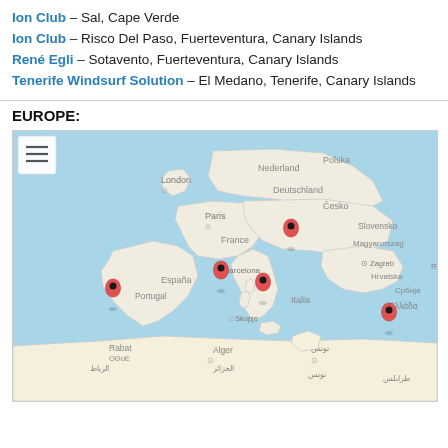Ion Club – Sal, Cape Verde
Ion Club – Risco Del Paso, Fuerteventura, Canary Islands
René Egli – Sotavento, Fuerteventura, Canary Islands
Tenerife Windsurf Solution – El Medano, Tenerife, Canary Islands
EUROPE:
[Figure (map): Google Maps view of Europe showing location pins in Spain, France/Barcelona area, Northern Italy/Corsica, and Greece area. Map labels include London, Nederland, Polska, Deutschland, Paris, France, Česko, Slovensko, Magyarország, Zagreb, Hrvatska, Srbija, Barcelona, España, Portugal, Italia, Skopje, Ελλάδα, Rabat, Alger, تونس, طرابلس. A hamburger menu icon is in the top-left corner of the map.]